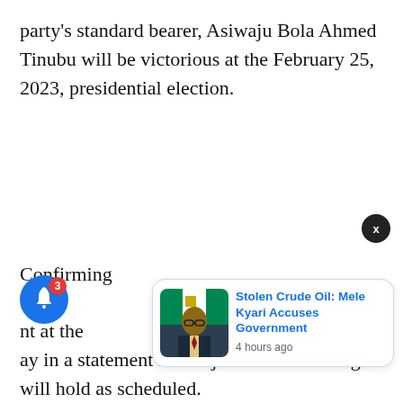party's standard bearer, Asiwaju Bola Ahmed Tinubu will be victorious at the February 25, 2023, presidential election.
Confirming the ... nt at the ... ay in a statement in Abuja said the meeting will hold as scheduled.
[Figure (screenshot): Notification card with photo of a man in a suit, titled 'Stolen Crude Oil: Mele Kyari Accuses Government', timestamp '4 hours ago'. Also shows a blue bell notification button with badge '3' and a dark X close button.]